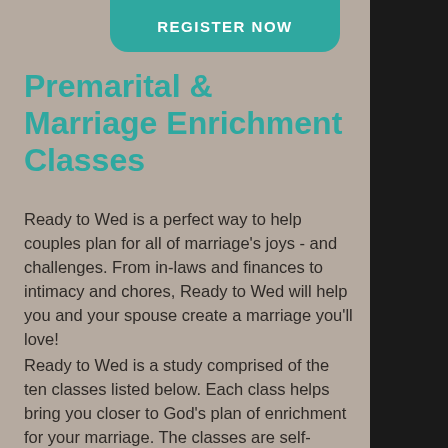[Figure (other): Teal rounded button at top with text REGISTER NOW]
Premarital & Marriage Enrichment Classes
Ready to Wed is a perfect way to help couples plan for all of marriage’s joys - and challenges. From in-laws and finances to intimacy and chores, Ready to Wed will help you and your spouse create a marriage you’ll love!
Ready to Wed is a study comprised of the ten classes listed below. Each class helps bring you closer to God’s plan of enrichment for your marriage. The classes are self-contained so you can join in at any time!